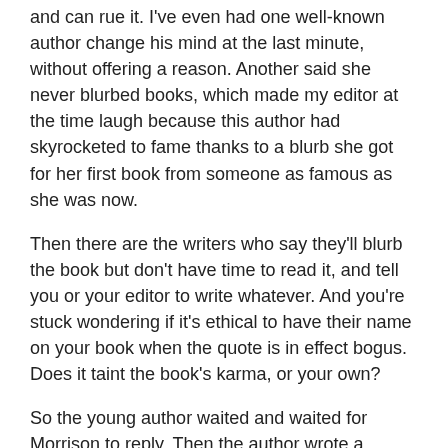and can rue it.  I've even had one well-known author change his mind at the last minute, without offering a reason.  Another said she never blurbed books, which made my editor at the time laugh because this author had skyrocketed to fame thanks to a blurb she got for her first book from someone as famous as she was now.
Then there are the writers who say they'll blurb the book but don't have time to read it, and tell you or your editor to write whatever.  And you're stuck wondering if it's ethical to have their name on your book when the quote is in effect bogus.  Does it taint the book's karma, or your own?
So the young author waited and waited for Morrison to reply.  Then the author wrote a second request which was on the desperate side.  This time, she got a speedy reply: “My dear: I understood your letter to be a request to endorse a...Sincerely, Toni Morrison”